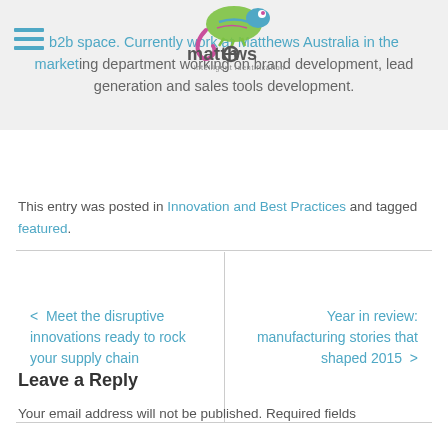[Figure (logo): Matthews intelligent identification logo with chameleon graphic]
b2b space. Currently work at Matthews Australia in the marketing department working on brand development, lead generation and sales tools development.
This entry was posted in Innovation and Best Practices and tagged featured.
< Meet the disruptive innovations ready to rock your supply chain
Year in review: manufacturing stories that shaped 2015 >
Leave a Reply
Your email address will not be published. Required fields